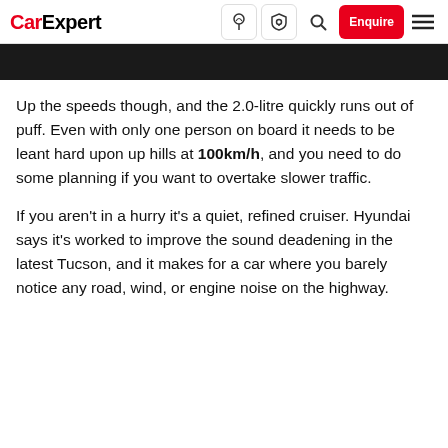CarExpert
[Figure (photo): Black image banner strip at top of article]
Up the speeds though, and the 2.0-litre quickly runs out of puff. Even with only one person on board it needs to be leant hard upon up hills at 100km/h, and you need to do some planning if you want to overtake slower traffic.
If you aren't in a hurry it's a quiet, refined cruiser. Hyundai says it's worked to improve the sound deadening in the latest Tucson, and it makes for a car where you barely notice any road, wind, or engine noise on the highway.